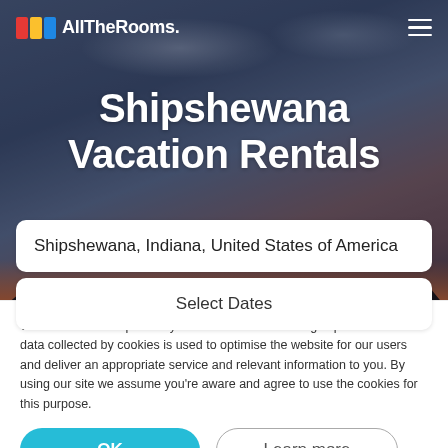AllTheRooms.
Shipshewana Vacation Rentals
Shipshewana, Indiana, United States of America
Select Dates
We use cookies to provide you with the best browsing experience. The data collected by cookies is used to optimise the website for our users and deliver an appropriate service and relevant information to you. By using our site we assume you're aware and agree to use the cookies for this purpose.
OK
Learn more